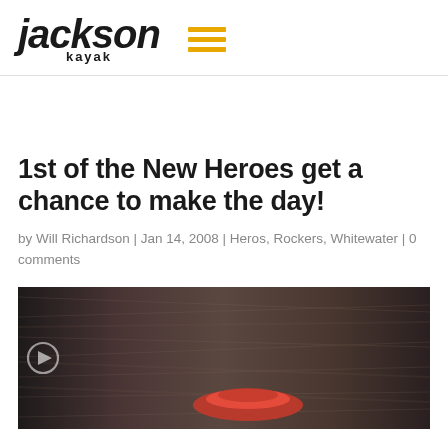Jackson Kayak
1st of the New Heroes get a chance to make the day!
by Will Richardson | Jan 14, 2008 | Heros, Rockers, Whitewater | 0 comments
[Figure (photo): Action photo of a red kayak with blurred motion background, partially visible]